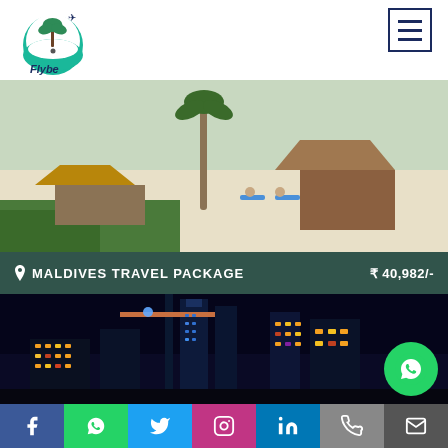[Figure (logo): Flybe travel agency logo — circular design with green wave, palm tree, and airplane]
[Figure (photo): Maldives beach scene with thatched umbrellas, white sand, beach chairs, and palm trees]
MALDIVES TRAVEL PACKAGE   ₹ 40,982/-
[Figure (photo): Dubai city night skyline with illuminated skyscrapers and construction cranes]
[Figure (other): WhatsApp contact button (green circle with WhatsApp icon)]
Social media links: Facebook, WhatsApp, Twitter, Instagram, LinkedIn, Phone, Email